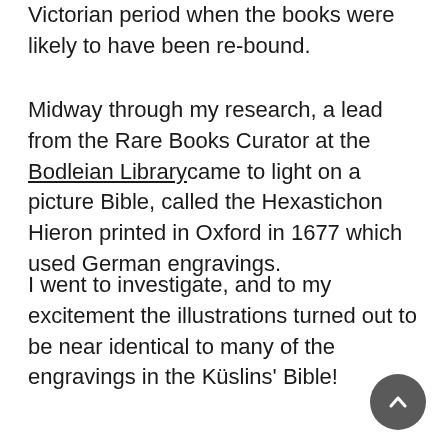Victorian period when the books were likely to have been re-bound.
Midway through my research, a lead from the Rare Books Curator at the Bodleian Library came to light on a picture Bible, called the Hexastichon Hieron printed in Oxford in 1677 which used German engravings.
I went to investigate, and to my excitement the illustrations turned out to be near identical to many of the engravings in the Küslins' Bible!